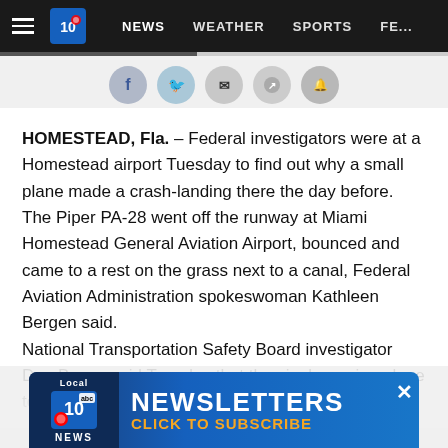NEWS | WEATHER | SPORTS | FE...
[Figure (screenshot): Social sharing icons row: Facebook, Twitter, Email, Share buttons]
HOMESTEAD, Fla. – Federal investigators were at a Homestead airport Tuesday to find out why a small plane made a crash-landing there the day before.
The Piper PA-28 went off the runway at Miami Homestead General Aviation Airport, bounced and came to a rest on the grass next to a canal, Federal Aviation Administration spokeswoman Kathleen Bergen said.
National Transportation Safety Board investigator Dan Boggs said Tuesday that the single-engine plane took of...
[Figure (screenshot): Local 10 News newsletter advertisement banner reading NEWSLETTERS CLICK TO SUBSCRIBE]